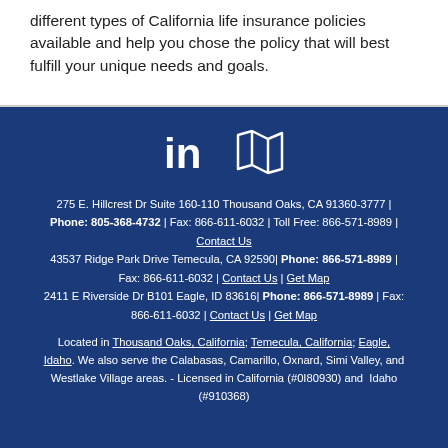different types of California life insurance policies available and help you chose the policy that will best fulfill your unique needs and goals.
275 E. Hillcrest Dr Suite 160-110 Thousand Oaks, CA 91360-3777 | Phone: 805-368-4732 | Fax: 866-611-6032 | Toll Free: 866-571-8989 | Contact Us
43537 Ridge Park Drive Temecula, CA 92590| Phone: 866-571-8989 | Fax: 866-611-6032 | Contact Us | Get Map
2411 E Riverside Dr B101 Eagle, ID 83616| Phone: 866-571-8989 | Fax: 866-611-6032 | Contact Us | Get Map
Located in Thousand Oaks, California; Temecula, California; Eagle, Idaho. We also serve the Calabasas, Camarillo, Oxnard, Simi Valley, and Westlake Village areas. - Licensed in California (#0I80930) and Idaho (#910368)